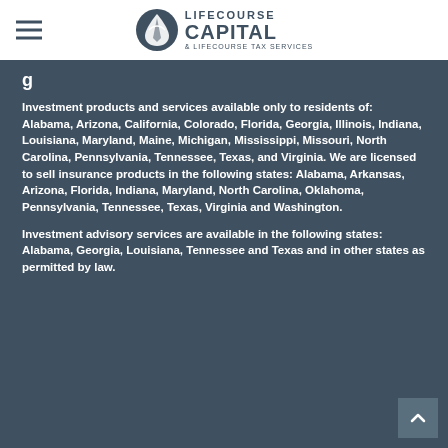LifeCourse Capital & LifeCourse Tax Services
g
Investment products and services available only to residents of: Alabama, Arizona, California, Colorado, Florida, Georgia, Illinois, Indiana, Louisiana, Maryland, Maine, Michigan, Mississippi, Missouri, North Carolina, Pennsylvania, Tennessee, Texas, and Virginia. We are licensed to sell insurance products in the following states: Alabama, Arkansas, Arizona, Florida, Indiana, Maryland, North Carolina, Oklahoma, Pennsylvania, Tennessee, Texas, Virginia and Washington.
Investment advisory services are available in the following states: Alabama, Georgia, Louisiana, Tennessee and Texas and in other states as permitted by law.